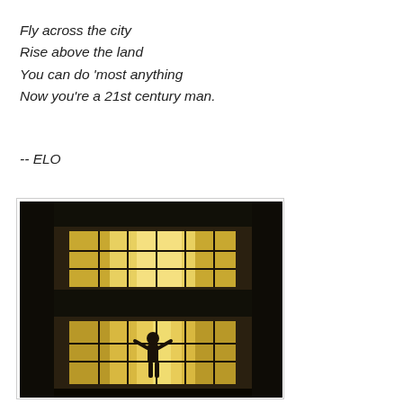Fly across the city
Rise above the land
You can do 'most anything
Now you're a 21st century man.
-- ELO
[Figure (photo): Night photograph of a building facade showing two floors of large multi-pane windows lit from within. In the lower illuminated window, a silhouette of a person can be seen.]